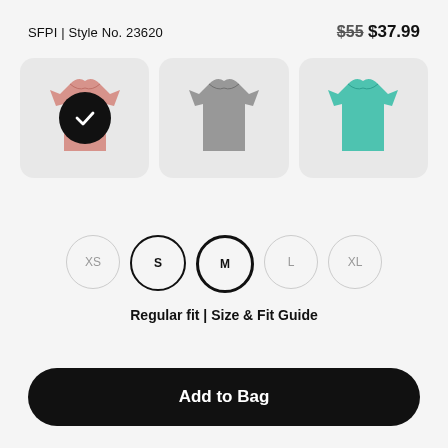SFPI | Style No. 23620   $55 $37.99
[Figure (screenshot): Three t-shirt color options shown in rounded cards: pink/salmon (selected with black checkmark), gray, and teal/turquoise]
[Figure (infographic): Five size selector circles: XS (unselected light), S (selected thin black border), M (selected thick black border), L (unselected light), XL (unselected light)]
Regular fit | Size & Fit Guide
Add to Bag